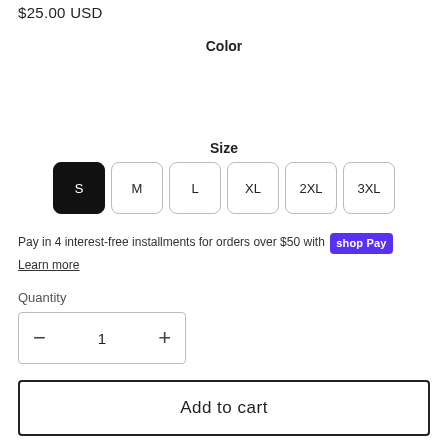$25.00 USD
Color
Size
S M L XL 2XL 3XL (size selector buttons, S selected)
Pay in 4 interest-free installments for orders over $50 with Shop Pay
Learn more
Quantity
- 1 +
Add to cart
Having a little trouble finding all The Classic bundles that